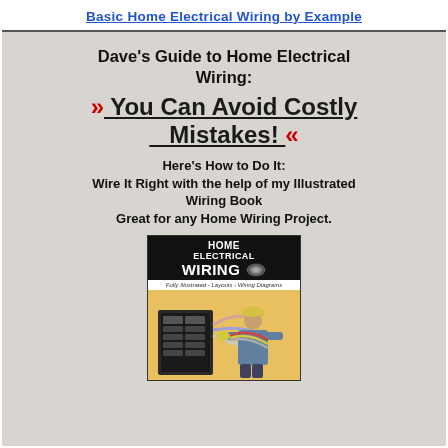Basic Home Electrical Wiring by Example
Dave's Guide to Home Electrical Wiring:
» You Can Avoid Costly Mistakes! «
Here's How to Do It:
Wire It Right with the help of my Illustrated Wiring Book
Great for any Home Wiring Project.
[Figure (photo): Book cover for Home Electrical Wiring - Fully Illustrated - Layouts - Wiring Diagrams, showing a person holding wiring next to an electrical panel]